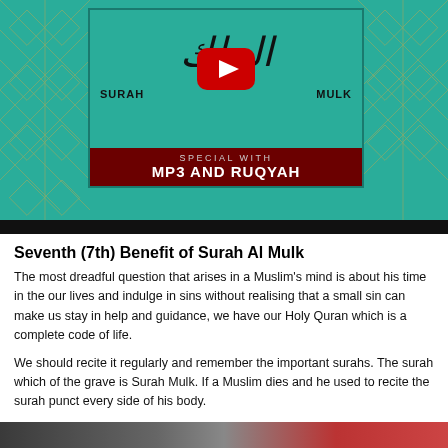[Figure (screenshot): YouTube video thumbnail for Surah Al Mulk with teal geometric Islamic pattern background, YouTube play button in center, Arabic calligraphy at top, text 'SURAH MULK' and dark red banner with 'SPECIAL WITH MP3 AND RUQYAH']
Seventh (7th) Benefit of Surah Al Mulk
The most dreadful question that arises in a Muslim's mind is about his time in the our lives and indulge in sins without realising that a small sin can make us stay in help and guidance, we have our Holy Quran which is a complete code of life.
We should recite it regularly and remember the important surahs. The surah which of the grave is Surah Mulk. If a Muslim dies and he used to recite the surah punct every side of his body.
[Figure (photo): Partial photo at bottom of page, dark and reddish tones]